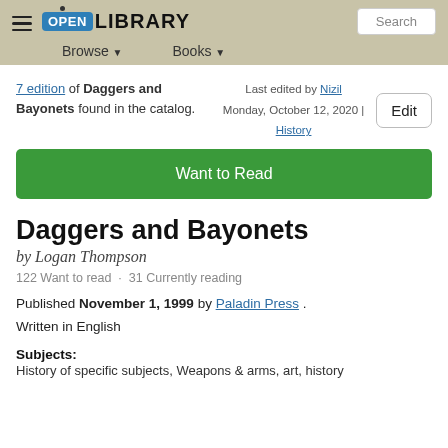Open Library — Browse · Books · Search
7 edition of Daggers and Bayonets found in the catalog. Last edited by Nizil Monday, October 12, 2020 | History
Edit
Want to Read
Daggers and Bayonets
by Logan Thompson
122 Want to read · 31 Currently reading
Published November 1, 1999 by Paladin Press . Written in English
Subjects:
History of specific subjects, Weapons & arms, art, history